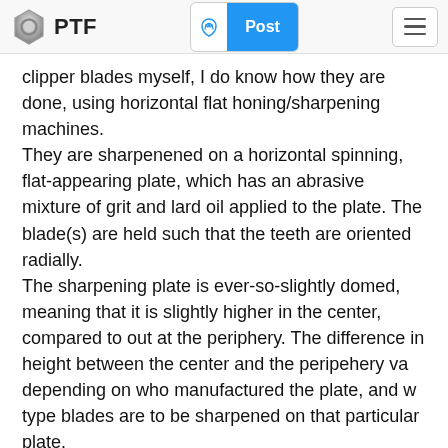PTF | Post
clipper blades myself, I do know how they are done, using horizontal flat honing/sharpening machines. They are sharpenened on a horizontal spinning, flat-appearing plate, which has an abrasive mixture of grit and lard oil applied to the plate. The blade(s) are held such that the teeth are oriented radially. The sharpening plate is ever-so-slightly domed, meaning that it is slightly higher in the center, compared to out at the periphery. The difference in height between the center and the peripehery va depending on who manufactured the plate, and w type blades are to be sharpened on that particular plate. So, if you lay a straightedge radially on the plate, you